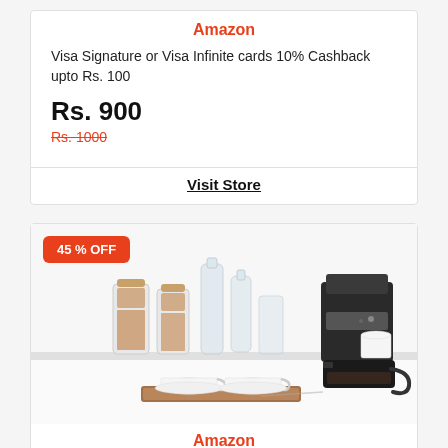Amazon
Visa Signature or Visa Infinite cards 10% Cashback upto Rs. 100
Rs. 900
Rs. 1000
Visit Store
[Figure (photo): Product listing card with 45% OFF badge showing a coffee maker with two white cups on a wooden tray and glass jars with coffee beans on a white counter background]
Amazon
Solimo Zing 600 ml Coffee Maker Rs.1069 - Amazon